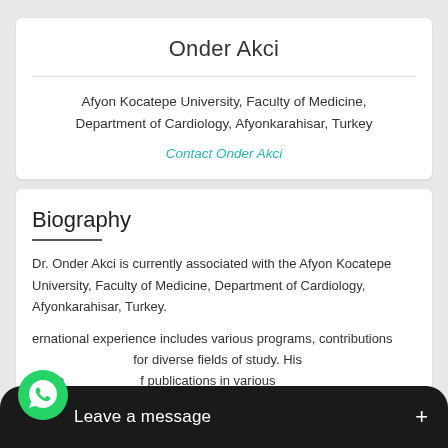Onder Akci
Afyon Kocatepe University, Faculty of Medicine, Department of Cardiology, Afyonkarahisar, Turkey
Contact Onder Akci
Biography
Dr. Onder Akci is currently associated with the Afyon Kocatepe University, Faculty of Medicine, Department of Cardiology, Afyonkarahisar, Turkey.
ernational experience includes various programs, contributions for diverse fields of study. His research publications in various natio...